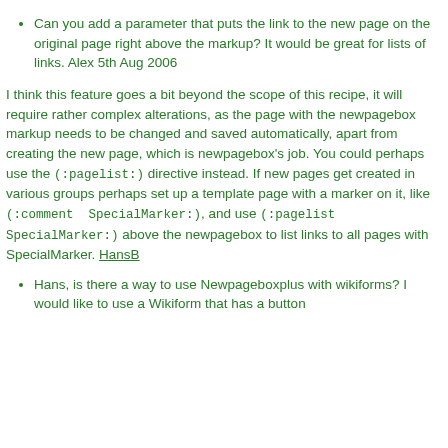Can you add a parameter that puts the link to the new page on the original page right above the markup? It would be great for lists of links. Alex 5th Aug 2006
I think this feature goes a bit beyond the scope of this recipe, it will require rather complex alterations, as the page with the newpagebox markup needs to be changed and saved automatically, apart from creating the new page, which is newpagebox's job. You could perhaps use the (:pagelist:) directive instead. If new pages get created in various groups perhaps set up a template page with a marker on it, like (:comment SpecialMarker:), and use (:pagelist SpecialMarker:) above the newpagebox to list links to all pages with SpecialMarker. HansB
Hans, is there a way to use Newpageboxplus with wikiforms? I would like to use a Wikiform that has a button